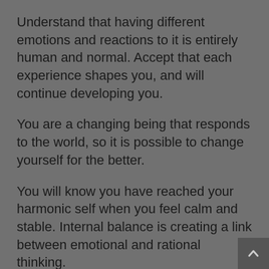Understand that having different emotions and reactions to it is entirely human and normal. Accept that each experience shapes you, and will continue developing you.
You are a changing being that responds to the world, so it is possible to change yourself for the better.
You will know you have reached your harmonic self when you feel calm and stable. Internal balance is creating a link between emotional and rational thinking.
Both of these types of thinking are important and valuable and placing too much emphasis on